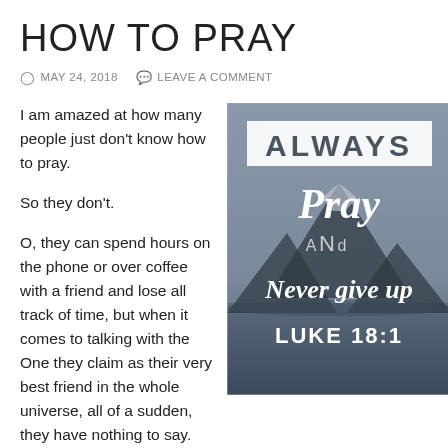HOW TO PRAY
⊙ MAY 24, 2018  🗨 LEAVE A COMMENT
I am amazed at how many people just don't know how to pray.
So they don't.
[Figure (illustration): Inspirational graphic with mountain lake background. Text reads: ALWAYS Pray ANd Never give up LUKE 18:1]
O, they can spend hours on the phone or over coffee with a friend and lose all track of time, but when it comes to talking with the One they claim as their very best friend in the whole universe, all of a sudden, they have nothing to say.